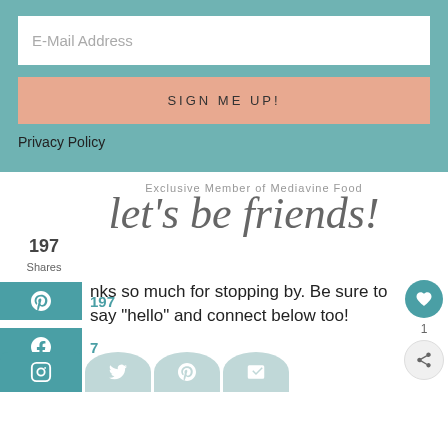E-Mail Address
SIGN ME UP!
Privacy Policy
Exclusive Member of Mediavine Food
let's be friends!
197 Shares
...nks so much for stopping by. Be sure to say "hello" and connect below too!
197
7
1